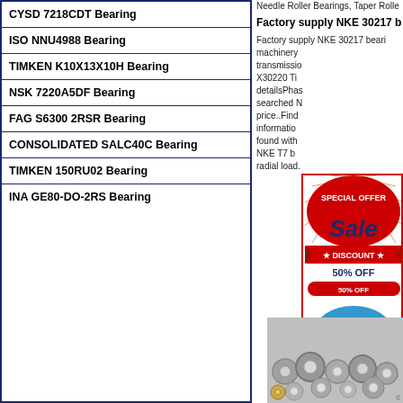CYSD 7218CDT Bearing
ISO NNU4988 Bearing
TIMKEN K10X13X10H Bearing
NSK 7220A5DF Bearing
FAG S6300 2RSR Bearing
CONSOLIDATED SALC40C Bearing
TIMKEN 150RU02 Bearing
INA GE80-DO-2RS Bearing
Needle Roller Bearings, Taper Rolle
Factory supply NKE 30217 b
Factory supply NKE 30217 bearing machinery transmission X30220 Ti detailsPhase searched N price..Find information found with NKE T7 b radial load.
[Figure (infographic): Special Offer Sale Discount 50% OFF red and blue promotional banner]
[Figure (photo): Photo of multiple small metal ball bearings on grey surface]
Contact Us blue speech bubble graphic